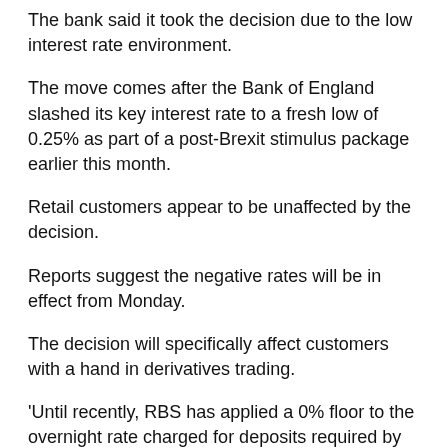The bank said it took the decision due to the low interest rate environment.
The move comes after the Bank of England slashed its key interest rate to a fresh low of 0.25% as part of a post-Brexit stimulus package earlier this month.
Retail customers appear to be unaffected by the decision.
Reports suggest the negative rates will be in effect from Monday.
The decision will specifically affect customers with a hand in derivatives trading.
'Until recently, RBS has applied a 0% floor to the overnight rate charged for deposits required by clearing houses for futures trades,' an RBS spokesman for the firm said.